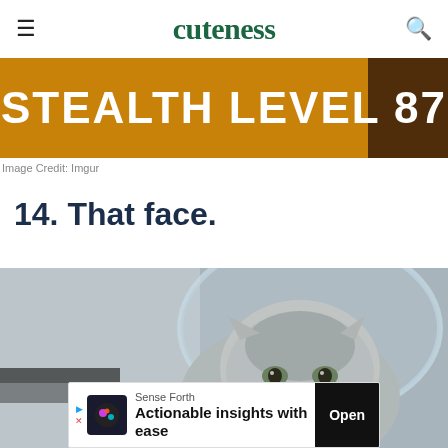cuteness
[Figure (photo): Orange/golden background image with large white bold text reading 'STEALTH LEVEL 87' with a dark brown section on the right side]
Image Credit: Imgur
14. That face.
[Figure (photo): A grey Scottish Fold kitten peering from inside a large round glass fishbowl, with blurred background]
[Figure (other): Advertisement banner: Sense Forth - Actionable insights with ease - Open button]